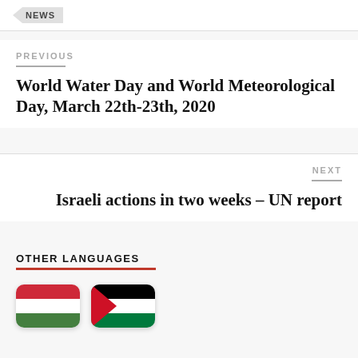NEWS
PREVIOUS
World Water Day and World Meteorological Day, March 22th-23th, 2020
NEXT
Israeli actions in two weeks – UN report
OTHER LANGUAGES
[Figure (illustration): Hungarian flag icon with red, white, and green horizontal stripes and rounded corners]
[Figure (illustration): Palestinian flag icon with black, white, and green horizontal stripes and a red triangle on the left, with rounded corners]